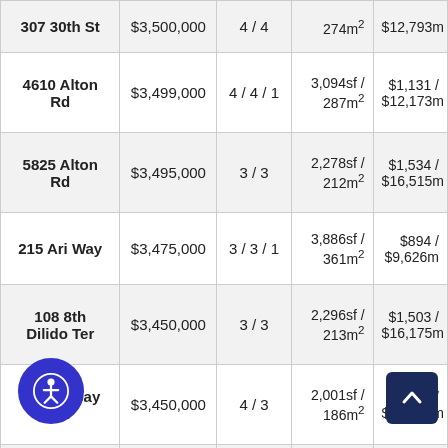| Address | Price | Bed/Bath | Size | Price/SF |
| --- | --- | --- | --- | --- |
| 307 30th St (partial) | $3,500,000 | 4/4 | 274m² | $12,793m |
| 4610 Alton Rd | $3,499,000 | 4/4/1 | 3,094sf / 287m² | $1,131 / $12,173m |
| 5825 Alton Rd | $3,495,000 | 3/3 | 2,278sf / 212m² | $1,534 / $16,515m |
| 215 Ari Way | $3,475,000 | 3/3/1 | 3,886sf / 361m² | $894 / $9,626m |
| 108 8th Dilido Ter | $3,450,000 | 3/3 | 2,296sf / 213m² | $1,503 / $16,175m |
| 2033 N Bay Rd | $3,450,000 | 4/3 | 2,001sf / 186m² | $1,724 / $18,559m |
| 2075 N Bay Rd | $3,400,000 | 4/4 | 3,105sf / 288m² | $1,095 / $[obscured]m |
| 4431 (partial) | $3,050,000 (partial) |  | 2,700sf / | $1,241 / |